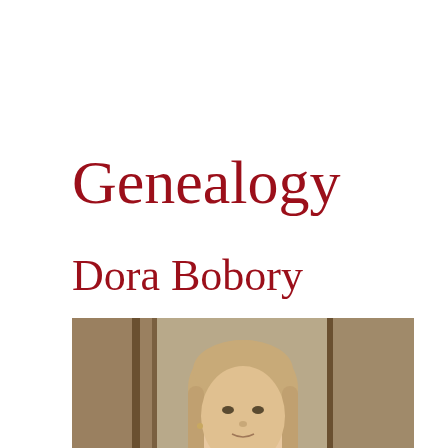Genealogy
Dora Bobory
[Figure (photo): Portrait photo of a young woman with long blonde hair, wearing a blue top, resting her chin on her fist, seated in front of wooden shelves or storage area]